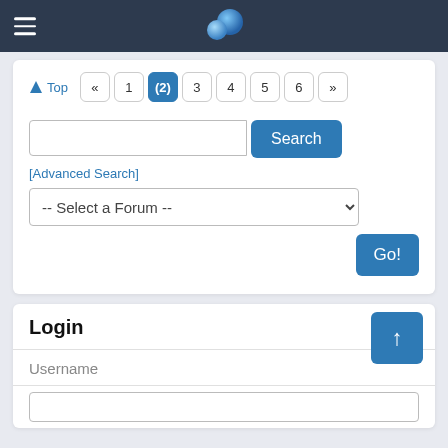Navigation header with hamburger menu and logo
Top  «  1  (2)  3  4  5  6  »
[Figure (screenshot): Search box with Search button, [Advanced Search] link, Select a Forum dropdown, and Go! button]
Login
Username